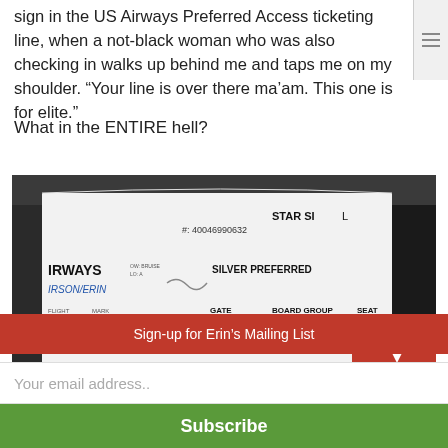sign in the US Airways Preferred Access ticketing line, when a not-black woman who was also checking in walks up behind me and taps me on my shoulder. “Your line is over there ma’am. This one is for elite.”
What in the ENTIRE hell?
[Figure (photo): A close-up photo of a US Airways boarding pass/ticket showing: #: 40046990632, STAR SI... (Silver), US AIRWAYS, IRSON/ERIN, SILVER PREFERRED, FLIGHT: OV US 3311, MARK: 547A, GATE: D26, BOARD GROUP: ZONE 1, SEAT: 1F, FIRST CLASS, WINDOW, OPERATED BY US AIRWAYS (PIC), AUTON - DCA]
Sign-up for Erin’s Mailing List
Your email address..
Subscribe